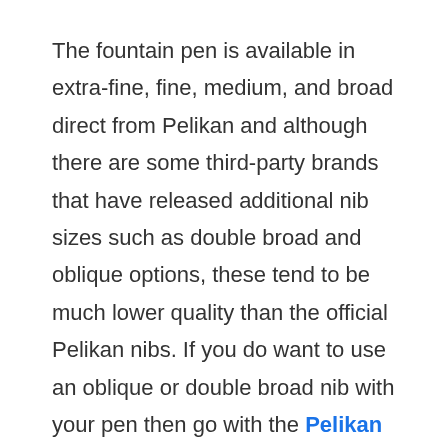The fountain pen is available in extra-fine, fine, medium, and broad direct from Pelikan and although there are some third-party brands that have released additional nib sizes such as double broad and oblique options, these tend to be much lower quality than the official Pelikan nibs. If you do want to use an oblique or double broad nib with your pen then go with the Pelikan m200 as it has official Pelikan nib options for both nib types that offer the highest possible build quality.
Although the Pelikan m150 is a wet writer just